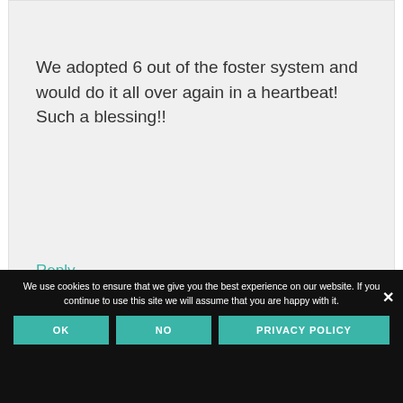We adopted 6 out of the foster system and would do it all over again in a heartbeat! Such a blessing!!
Reply
We use cookies to ensure that we give you the best experience on our website. If you continue to use this site we will assume that you are happy with it.
OK
NO
PRIVACY POLICY